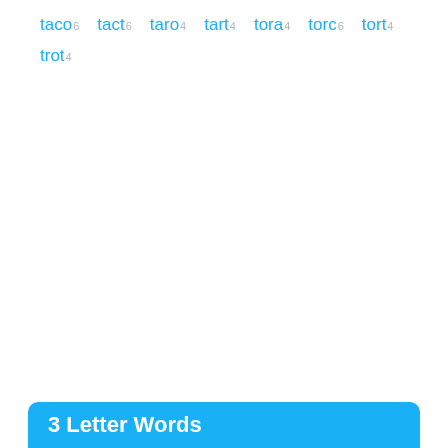taco6 tact6 taro4 tart4 tora4 torc6 tort4 trot4
3 Letter Words